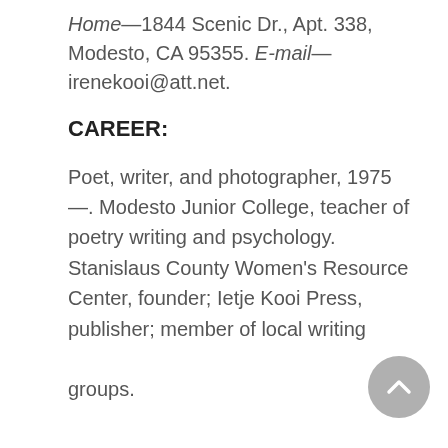Home—1844 Scenic Dr., Apt. 338, Modesto, CA 95355. E-mail—irenekooi@att.net.
CAREER:
Poet, writer, and photographer, 1975—. Modesto Junior College, teacher of poetry writing and psychology. Stanislaus County Women's Resource Center, founder; Ietje Kooi Press, publisher; member of local writing groups.